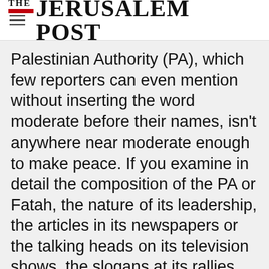THE JERUSALEM POST
Palestinian Authority (PA), which few reporters can even mention without inserting the word moderate before their names, isn't anywhere near moderate enough to make peace. If you examine in detail the composition of the PA or Fatah, the nature of its leadership, the articles in its newspapers or the talking heads on its television shows, the slogans at its rallies, the contents of its textbooks, the themes of its offi...
Advertisement